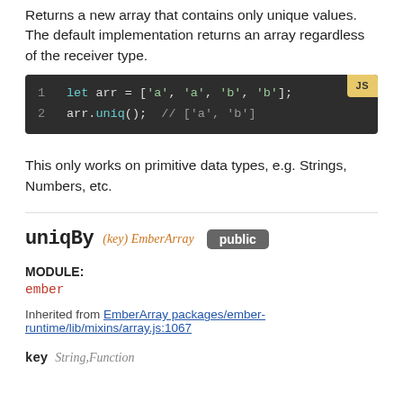Returns a new array that contains only unique values. The default implementation returns an array regardless of the receiver type.
[Figure (screenshot): Code block showing JavaScript: line 1: let arr = ['a', 'a', 'b', 'b']; line 2: arr.uniq(); // ['a', 'b']. Language badge: JS]
This only works on primitive data types, e.g. Strings, Numbers, etc.
uniqBy (key) EmberArray public
MODULE:
ember
Inherited from EmberArray packages/ember-runtime/lib/mixins/array.js:1067
key String,Function